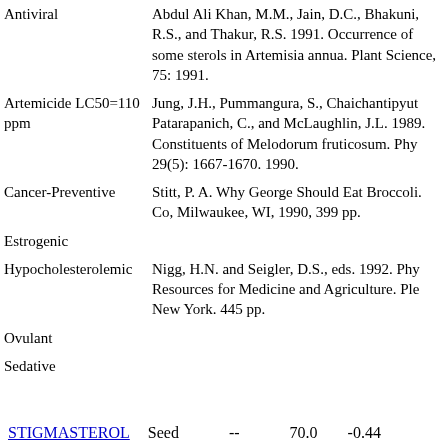Antiviral
Abdul Ali Khan, M.M., Jain, D.C., Bhakuni, R.S., and Thakur, R.S. 1991. Occurrence of some sterols in Artemisia annua. Plant Science, 75: 1991.
Artemicide LC50=110 ppm
Jung, J.H., Pummangura, S., Chaichantipyuth, Patarapanich, C., and McLaughlin, J.L. 1989. Constituents of Melodorum fruticosum. Phy 29(5): 1667-1670. 1990.
Cancer-Preventive
Stitt, P. A. Why George Should Eat Broccoli. Dougherty Co, Milwaukee, WI, 1990, 399 pp.
Estrogenic
Hypocholesterolemic
Nigg, H.N. and Seigler, D.S., eds. 1992. Phytochemical Resources for Medicine and Agriculture. Plenum Press, New York. 445 pp.
Ovulant
Sedative
STIGMASTEROL   Seed   --   70.0   -0.44